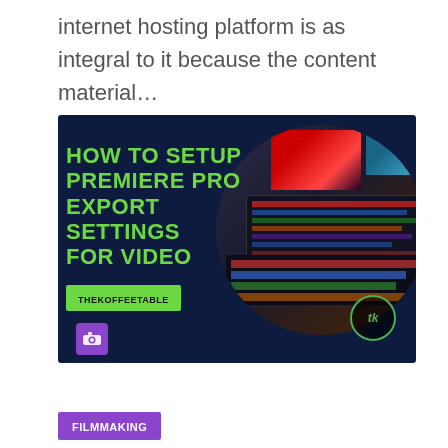internet hosting platform is as integral to it because the content material…
[Figure (illustration): Thumbnail image for a YouTube/blog post titled 'HOW TO SETUP PREMIERE PRO EXPORT SETTINGS FOR VIDEO' from THEKOFFEETABLE, showing a dark navy background with large bold yellow/green text overlay on the left and a circular cutout of a video editing workstation monitor with red and blue screens on the right, plus a green label bar, purple camera icon, and green circle logo badge.]
FILMMAKING